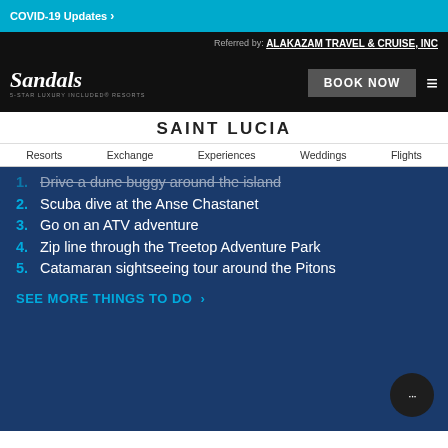COVID-19 Updates >
Referred by: ALAKAZAM TRAVEL & CRUISE, INC
Sandals — 5-STAR LUXURY INCLUDED® RESORTS | BOOK NOW
SAINT LUCIA
Resorts   Exchange   Experiences   Weddings   Flights
1. Drive a dune buggy around the island
2. Scuba dive at the Anse Chastanet
3. Go on an ATV adventure
4. Zip line through the Treetop Adventure Park
5. Catamaran sightseeing tour around the Pitons
SEE MORE THINGS TO DO >